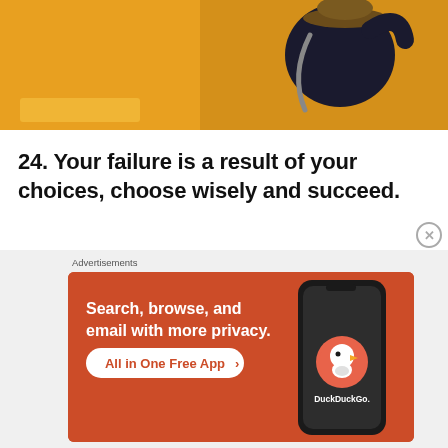[Figure (photo): Person wearing a hat and dark top with a bag strap visible, photographed against an orange/yellow background. A yellow-orange blob/text placeholder is in the lower left of the image.]
24. Your failure is a result of your choices, choose wisely and succeed.
Advertisements
[Figure (illustration): DuckDuckGo advertisement banner on orange-red background. Text reads: 'Search, browse, and email with more privacy. All in One Free App'. Shows a smartphone with the DuckDuckGo logo and brand name.]